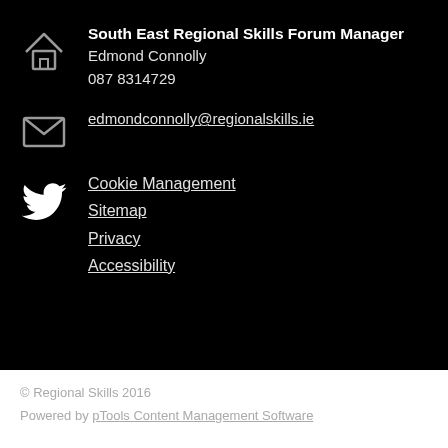South East Regional Skills Forum Manager
Edmond Connolly
087 8314729
edmondconnolly@regionalskills.ie
Cookie Management
Sitemap
Privacy
Accessibility
© Regional Skills 2016
Powered by pTools Content Management Software